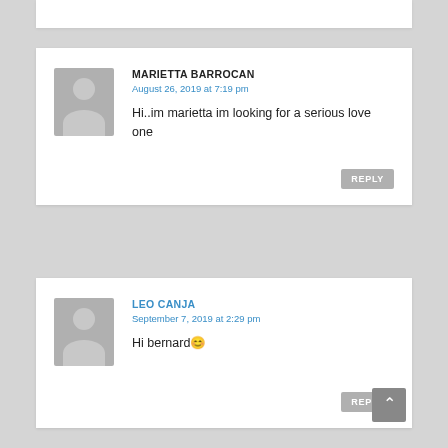MARIETTA BARROCAN
August 26, 2019 at 7:19 pm
Hi..im marietta im looking for a serious love one
REPLY
LEO CANJA
September 7, 2019 at 2:29 pm
Hi bernard 😊
REPLY